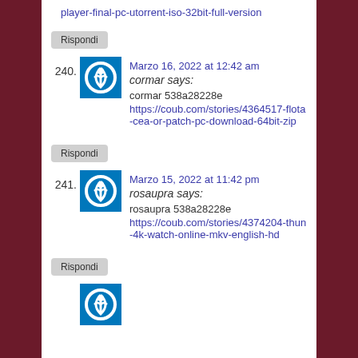player-final-pc-utorrent-iso-32bit-full-version
Rispondi
240. [avatar] Marzo 16, 2022 at 12:42 am
cormar says:
cormar 538a28228e
https://coub.com/stories/4364517-flota-cea-or-patch-pc-download-64bit-zip
Rispondi
241. [avatar] Marzo 15, 2022 at 11:42 pm
rosaupra says:
rosaupra 538a28228e
https://coub.com/stories/4374204-thun-4k-watch-online-mkv-english-hd
Rispondi